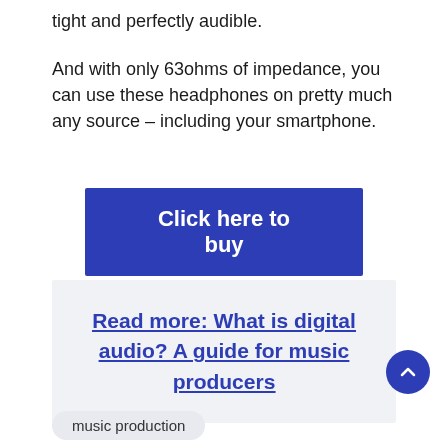tight and perfectly audible.
And with only 63ohms of impedance, you can use these headphones on pretty much any source – including your smartphone.
Click here to buy
Read more: What is digital audio? A guide for music producers
music production